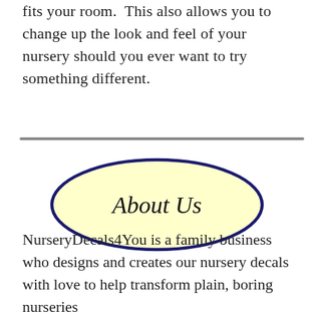fits your room.  This also allows you to change up the look and feel of your nursery should you ever want to try something different.
[Figure (illustration): An oval button shape with a light yellow fill and dark navy blue border, containing the text 'About Us' in an italic cursive font.]
NurseryDecals4You is a family business who designs and creates our nursery decals with love to help transform plain, boring nurseries